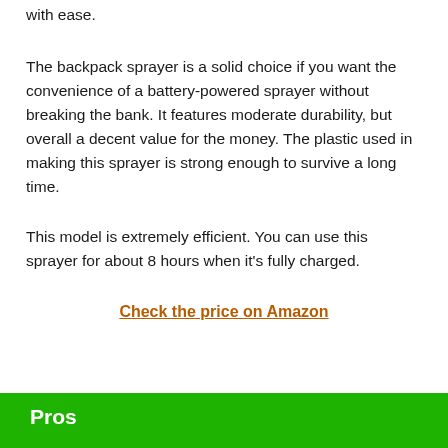with ease.
The backpack sprayer is a solid choice if you want the convenience of a battery-powered sprayer without breaking the bank. It features moderate durability, but overall a decent value for the money. The plastic used in making this sprayer is strong enough to survive a long time.
This model is extremely efficient. You can use this sprayer for about 8 hours when it's fully charged.
Check the price on Amazon
Pros